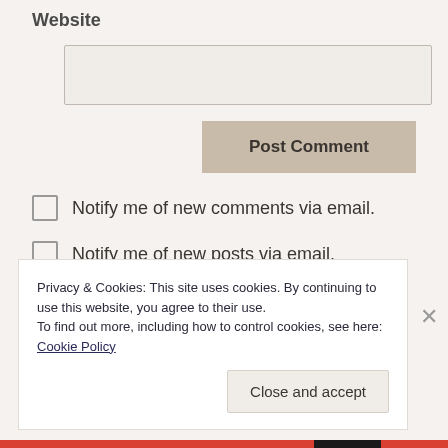Website
Notify me of new comments via email.
Notify me of new posts via email.
Privacy & Cookies: This site uses cookies. By continuing to use this website, you agree to their use.
To find out more, including how to control cookies, see here: Cookie Policy
Close and accept